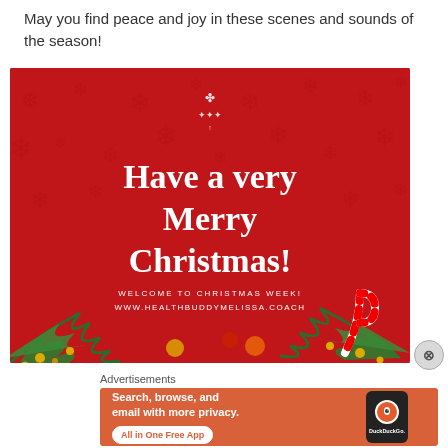May you find peace and joy in these scenes and sounds of the season!
[Figure (illustration): Red Christmas banner with snowflake pattern background. Large white text reads 'Have a very Merry Christmas!' with smaller text below reading 'WELCOME TO CHRISTMAS WEEK! WWW.HEALTHBUDDYMELISSA.COACH'. Bottom has pine branches, ornaments, and candy cane decorations.]
Advertisements
[Figure (illustration): DuckDuckGo advertisement on orange background. White bold text: 'Search, browse, and email with more privacy.' White button: 'All in One Free App'. Right side shows a smartphone with DuckDuckGo logo and text.]